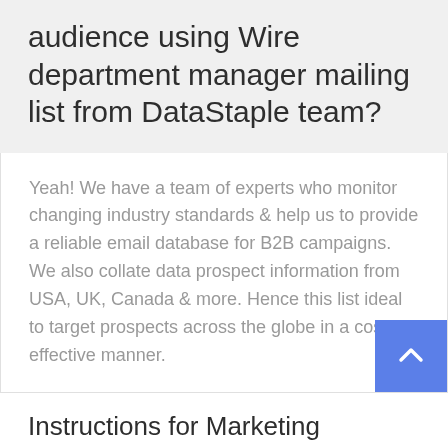audience using Wire department manager mailing list from DataStaple team?
Yeah! We have a team of experts who monitor changing industry standards & help us to provide a reliable email database for B2B campaigns. We also collate data prospect information from USA, UK, Canada & more. Hence this list ideal to target prospects across the globe in a cost effective manner.
Instructions for Marketing
[Figure (illustration): Partial circular icon in teal/cyan color at bottom left]